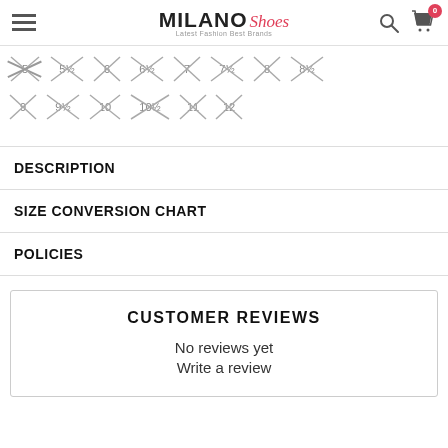Milano Shoes — Latest Fashion Best Brands
[Figure (other): Shoe size selector with crossed-out unavailable sizes: 5, 5½, 6, 6½, 7, 7½, 8, 8½ (row 1) and 9, 9½, 10, 10½, 11, 12 (row 2)]
DESCRIPTION
SIZE CONVERSION CHART
POLICIES
CUSTOMER REVIEWS
No reviews yet
Write a review